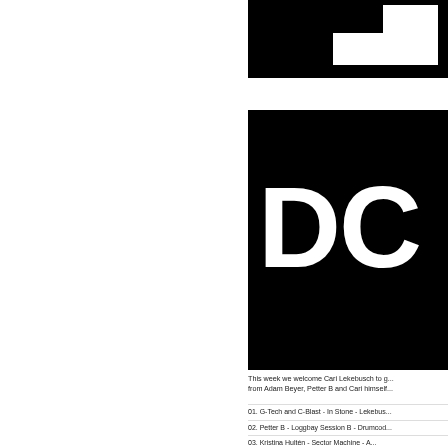[Figure (logo): Black square logo block with white geometric shapes at top and large white letters 'DC' in the lower portion. The top section shows a white rectangular shape with a notch/inner cutout forming a document or label icon, and a white horizontal bar below it. The bottom half displays 'DC' in very large bold white sans-serif letters.]
This week we welcome Cari Lekebusch to g... from Adam Beyer, Petter B and Cari himself...
01. G-Tech and C-Blast - In Stone - Lekebus...
02. Petter B - Loggbay Session B - Drumcod...
03. Kristina Hultén - Sector Machine - A...